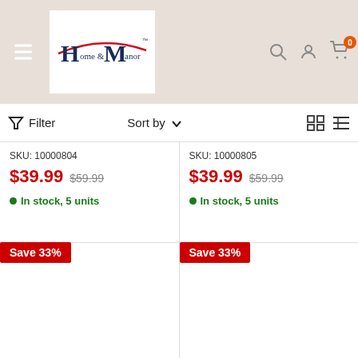[Figure (logo): Home & Manor logo with red swoosh and dark blue serif text]
Filter
Sort by
SKU: 10000804
$39.99  $59.99
In stock, 5 units
SKU: 10000805
$39.99  $59.99
In stock, 5 units
Save 33%
Save 33%